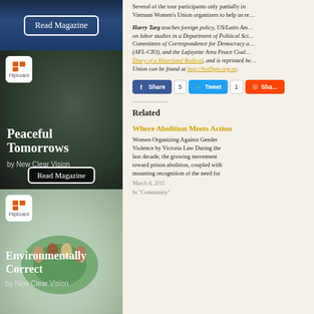[Figure (screenshot): Flipboard magazine card - top blue background with 'Read Magazine' button]
[Figure (screenshot): Flipboard magazine card 'Peaceful Tomorrows by New Clear Vision' with dark background and Read Magazine button]
[Figure (screenshot): Flipboard magazine card 'Environmentally Correct by New Clear Vision' with globe illustration]
Several of the tour participants only partially in 
Vietnam Women's Union organizers to help us re...
Harry Targ teaches foreign policy, US/Latin Am... on labor studies in a Department of Political Sci... Committees of Correspondence for Democracy a... (AFL-CIO), and the Lafayette Area Peace Coal... Diary of a Heartland Radical, and is reprinted he... Union can be found at http://hoilhpn.org.vn.
[Figure (screenshot): Social share buttons: Facebook Share (5), Twitter Tweet (1), Reddit Share]
Related
Where Abolition Meets Action
Women Organizing Against Gender Violence by Victoria Law During the last decade, the growing movement toward prison abolition, coupled with mounting recognition of the need for
March 4, 2011
In "Community"